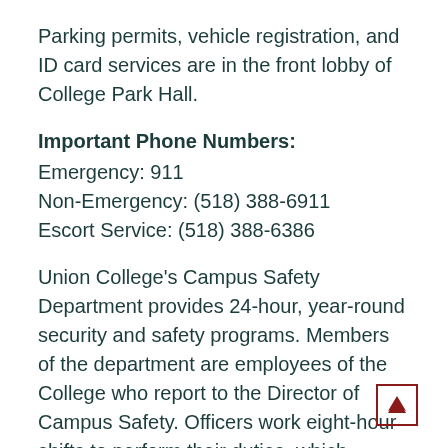Parking permits, vehicle registration, and ID card services are in the front lobby of College Park Hall.
Important Phone Numbers:
Emergency: 911
Non-Emergency: (518) 388-6911
Escort Service: (518) 388-6386
Union College's Campus Safety Department provides 24-hour, year-round security and safety programs. Members of the department are employees of the College who report to the Director of Campus Safety. Officers work eight-hour shifts to perform their duties, which include: